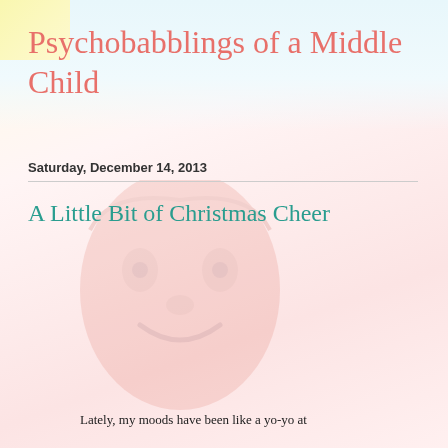Psychobabblings of a Middle Child
Saturday, December 14, 2013
A Little Bit of Christmas Cheer
Lately, my moods have been like a yo-yo at